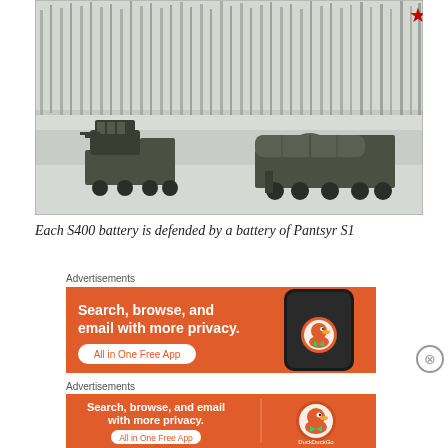[Figure (photo): Winter military scene showing two Russian military vehicles (S-400 missile launcher and Pantsyr S1 air defense system) on a snowy field with bare birch trees in the background. A red star logo is visible in the top right corner.]
Each S400 battery is defended by a battery of Pantsyr S1
Advertisements
[Figure (screenshot): DuckDuckGo advertisement banner with orange background. Text reads: 'Search, browse, and email with more privacy. All in One Free App'. Shows a smartphone mockup and DuckDuckGo duck logo.]
Advertisements
[Figure (screenshot): DuckDuckGo advertisement banner with orange background. Text reads: 'Search, browse, and email with more privacy. All in One Free App'. Shows DuckDuckGo duck logo and brand name.]